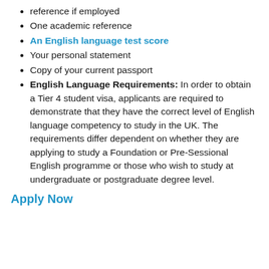reference if employed
One academic reference
An English language test score
Your personal statement
Copy of your current passport
English Language Requirements: In order to obtain a Tier 4 student visa, applicants are required to demonstrate that they have the correct level of English language competency to study in the UK. The requirements differ dependent on whether they are applying to study a Foundation or Pre-Sessional English programme or those who wish to study at undergraduate or postgraduate degree level.
Apply Now